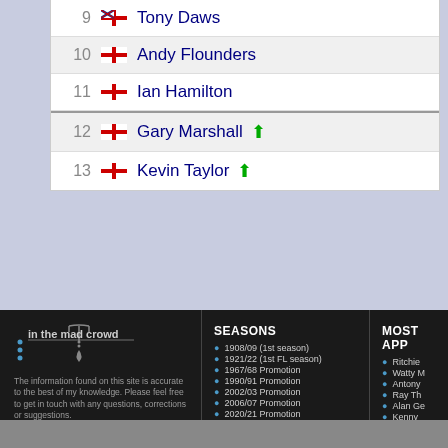| # | Flag | Name |
| --- | --- | --- |
| 9 | England | Tony Daws |
| 10 | England | Andy Flounders |
| 11 | England | Ian Hamilton |
| 12 | England | Gary Marshall ↑ |
| 13 | England | Kevin Taylor ↑ |
| # | Flag | Name |
| --- | --- | --- |
| 9 | England | Paul Ba... |
| 10 | England | Paul Da... |
| 11 | England | Paul Ols... |
[Figure (logo): in the mad crowd website logo with hangman illustration]
The information found on this site is accurate to the best of my knowledge. Please feel free to get in touch with any questions, corrections or suggestions.
- John Phillips
contact me
SEASONS
1908/09 (1st season)
1921/22 (1st FL season)
1967/68 Promotion
1990/91 Promotion
2002/03 Promotion
2006/07 Promotion
2020/21 Promotion
Current Season
MOST APP...
Ritchie...
Watty M...
Antony...
Ray Th...
Alan Ge...
Kenny...
Brian H...
Micky B...
Jackie...
Tommy...